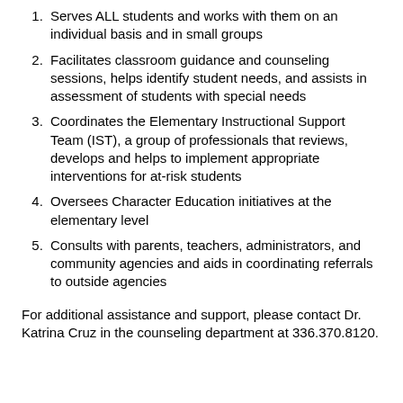Serves ALL students and works with them on an individual basis and in small groups
Facilitates classroom guidance and counseling sessions, helps identify student needs, and assists in assessment of students with special needs
Coordinates the Elementary Instructional Support Team (IST), a group of professionals that reviews, develops and helps to implement appropriate interventions for at-risk students
Oversees Character Education initiatives at the elementary level
Consults with parents, teachers, administrators, and community agencies and aids in coordinating referrals to outside agencies
For additional assistance and support, please contact Dr. Katrina Cruz in the counseling department at 336.370.8120.